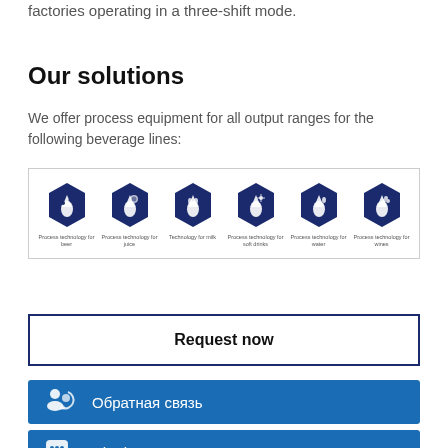factories operating in a three-shift mode.
Our solutions
We offer process equipment for all output ranges for the following beverage lines:
[Figure (infographic): Six dark navy hexagonal icons representing process technology for different beverage lines: beer, juice, milk, soft drinks, water, and wine, each with a liquid drop and ingredient icon, labeled with small text underneath.]
Request now
Обратная связь
Chatbot